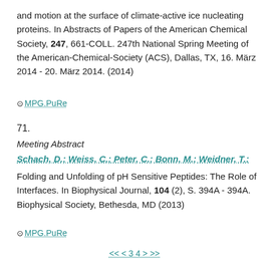and motion at the surface of climate-active ice nucleating proteins. In Abstracts of Papers of the American Chemical Society, 247, 661-COLL. 247th National Spring Meeting of the American-Chemical-Society (ACS), Dallas, TX, 16. März 2014 - 20. März 2014. (2014)
⊙ MPG.PuRe
71.
Meeting Abstract
Schach, D.; Weiss, C.; Peter, C.; Bonn, M.; Weidner, T.:
Folding and Unfolding of pH Sensitive Peptides: The Role of Interfaces. In Biophysical Journal, 104 (2), S. 394A - 394A. Biophysical Society, Bethesda, MD (2013)
⊙ MPG.PuRe
<< < 3 4 > >>